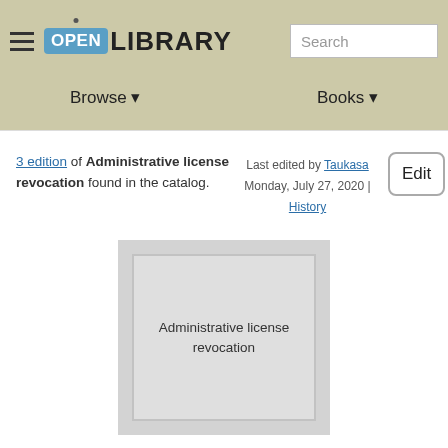Open Library — Browse | Books | Search
3 edition of Administrative license revocation found in the catalog.
Last edited by Taukasa Monday, July 27, 2020 | History
Edit
[Figure (illustration): Placeholder book cover showing 'Administrative license revocation' text on a grey background]